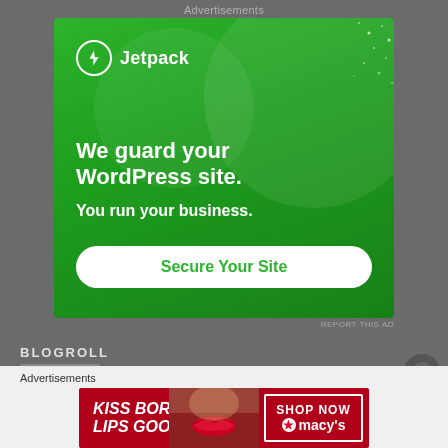Advertisements
[Figure (illustration): Jetpack advertisement on green background. Logo with lightning bolt icon and 'Jetpack' text. Large text: 'We guard your WordPress site. You run your business.' White rounded button: 'Secure Your Site']
REPORT THIS AD
BLOGROLL
Advertisements
[Figure (illustration): Macy's advertisement on red background with woman's face and lips. Text: 'KISS BORING LIPS GOODBYE'. Button 'SHOP NOW' with Macy's logo and star.]